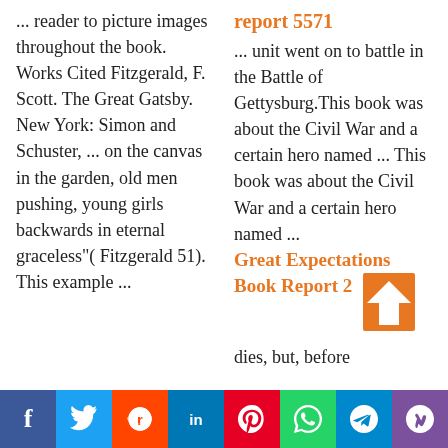... reader to picture images throughout the book. Works Cited Fitzgerald, F. Scott. The Great Gatsby. New York: Simon and Schuster, ... on the canvas in the garden, old men pushing, young girls backwards in eternal graceless"( Fitzgerald 51). This example ...
report 5571
... unit went on to battle in the Battle of Gettysburg.This book was about the Civil War and a certain hero named ... This book was about the Civil War and a certain hero named ...
Great Expectations Book Report 2
dies, but, before
Social share bar: Facebook, Twitter, Reddit, LinkedIn, Pinterest, WhatsApp, Telegram, Viber